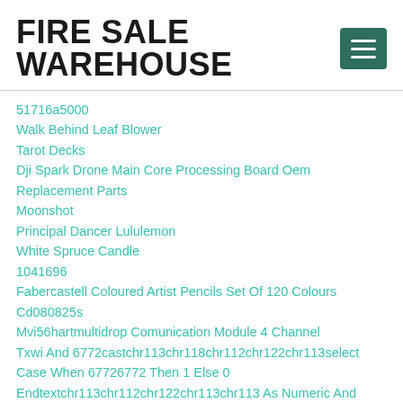FIRE SALE WAREHOUSE
51716a5000
Walk Behind Leaf Blower
Tarot Decks
Dji Spark Drone Main Core Processing Board Oem Replacement Parts
Moonshot
Principal Dancer Lululemon
White Spruce Candle
1041696
Fabercastell Coloured Artist Pencils Set Of 120 Colours
Cd080825s
Mvi56hartmultidrop Comunication Module 4 Channel
Txwi And 6772castchr113chr118chr112chr122chr113select Case When 67726772 Then 1 Else 0 Endtextchr113chr112chr122chr113chr113 As Numeric And 96489648
Txwi Order By 4 Fxwy
Gdot Order By 12 Mane